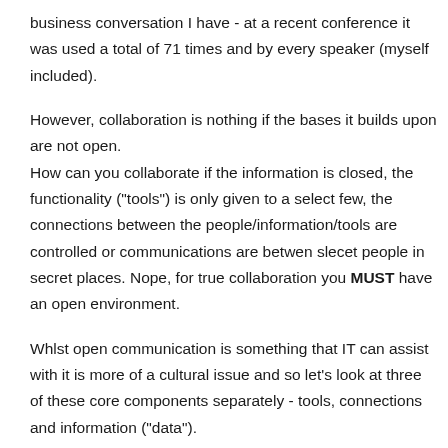business conversation I have - at a recent conference it was used a total of 71 times and by every speaker (myself included).
However, collaboration is nothing if the bases it builds upon are not open.
How can you collaborate if the information is closed, the functionality ("tools") is only given to a select few, the connections between the people/information/tools are controlled or communications are betwen slecet people in secret places. Nope, for true collaboration you MUST have an open environment.
Whlst open communication is something that IT can assist with it is more of a cultural issue and so let's look at three of these core components separately - tools, connections and information ("data").